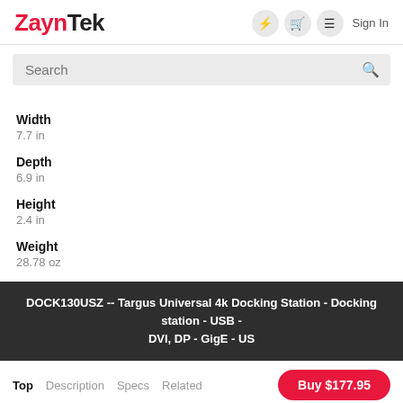ZaynTek — Sign In
Search
Width
7.7 in
Depth
6.9 in
Height
2.4 in
Weight
28.78 oz
DOCK130USZ -- Targus Universal 4k Docking Station - Docking station - USB - DVI, DP - GigE - US
Top  Description  Specs  Related  Buy $177.95